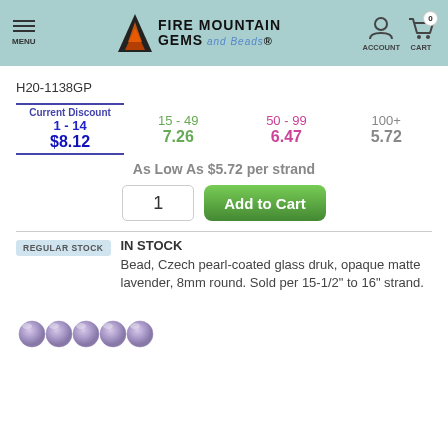Fire Mountain Gems and Beads — MENU | ACCOUNT | CART 0
H20-1138GP
| Current Discount | 15 - 49 | 50 - 99 | 100+ |
| --- | --- | --- | --- |
| 1 - 14 | 15 - 49 | 50 - 99 | 100+ |
| $8.12 | 7.26 | 6.47 | 5.72 |
As Low As $5.72 per strand
REGULAR STOCK
IN STOCK
Bead, Czech pearl-coated glass druk, opaque matte lavender, 8mm round. Sold per 15-1/2" to 16" strand.
[Figure (photo): Row of lavender/purple matte pearl-coated glass round beads on a white background]